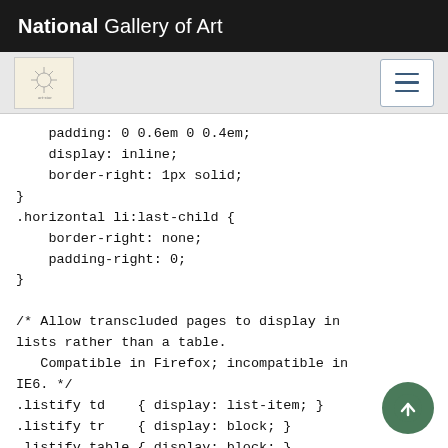National Gallery of Art
[Figure (logo): Navigation bar with decorative art icon on left and hamburger menu button on right]
padding: 0 0.6em 0 0.4em;
    display: inline;
    border-right: 1px solid;
}
.horizontal li:last-child {
    border-right: none;
    padding-right: 0;
}

/* Allow transcluded pages to display in
lists rather than a table.
   Compatible in Firefox; incompatible in
IE6. */
.listify td    { display: list-item; }
.listify tr    { display: block; }
.listify table { display: block; }